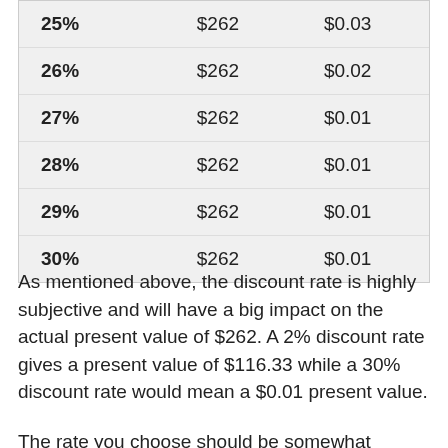| 25% | $262 | $0.03 |
| 26% | $262 | $0.02 |
| 27% | $262 | $0.01 |
| 28% | $262 | $0.01 |
| 29% | $262 | $0.01 |
| 30% | $262 | $0.01 |
As mentioned above, the discount rate is highly subjective and will have a big impact on the actual present value of $262. A 2% discount rate gives a present value of $116.33 while a 30% discount rate would mean a $0.01 present value.
The rate you choose should be somewhat